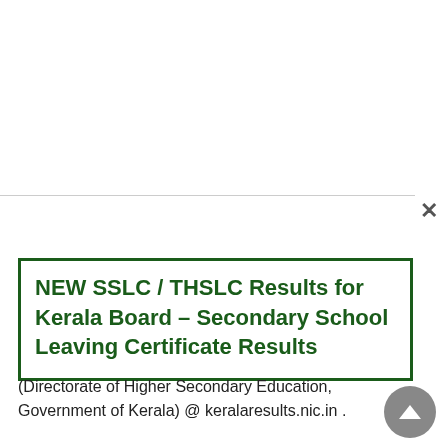NEW SSLC / THSLC Results for Kerala Board – Secondary School Leaving Certificate Results
(Directorate of Higher Secondary Education, Government of Kerala) @ keralaresults.nic.in .